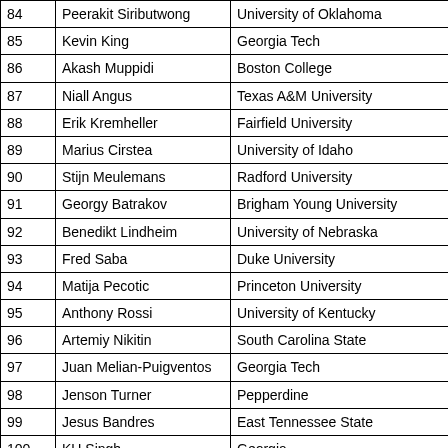| 84 | Peerakit Siributwong | University of Oklahoma |
| 85 | Kevin King | Georgia Tech |
| 86 | Akash Muppidi | Boston College |
| 87 | Niall Angus | Texas A&M University |
| 88 | Erik Kremheller | Fairfield University |
| 89 | Marius Cirstea | University of Idaho |
| 90 | Stijn Meulemans | Radford University |
| 91 | Georgy Batrakov | Brigham Young University |
| 92 | Benedikt Lindheim | University of Nebraska |
| 93 | Fred Saba | Duke University |
| 94 | Matija Pecotic | Princeton University |
| 95 | Anthony Rossi | University of Kentucky |
| 96 | Artemiy Nikitin | South Carolina State |
| 97 | Juan Melian-Puigventos | Georgia Tech |
| 98 | Jenson Turner | Pepperdine |
| 99 | Jesus Bandres | East Tennessee State |
| 100 | KU Singh | Georgia |